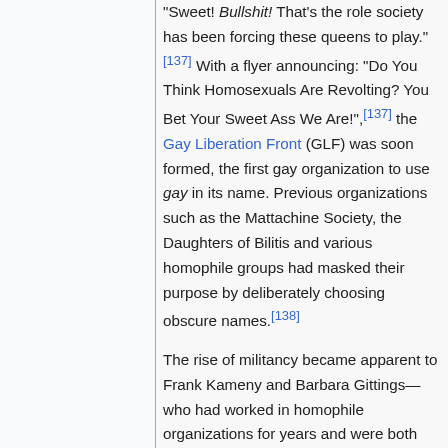"Sweet! Bullshit! That's the role society has been forcing these queens to play."[137] With a flyer announcing: "Do You Think Homosexuals Are Revolting? You Bet Your Sweet Ass We Are!",[137] the Gay Liberation Front (GLF) was soon formed, the first gay organization to use gay in its name. Previous organizations such as the Mattachine Society, the Daughters of Bilitis and various homophile groups had masked their purpose by deliberately choosing obscure names.[138]
The rise of militancy became apparent to Frank Kameny and Barbara Gittings—who had worked in homophile organizations for years and were both very public about their roles—when they attended a GLF meeting to see the new group. A young GLF member demanded...